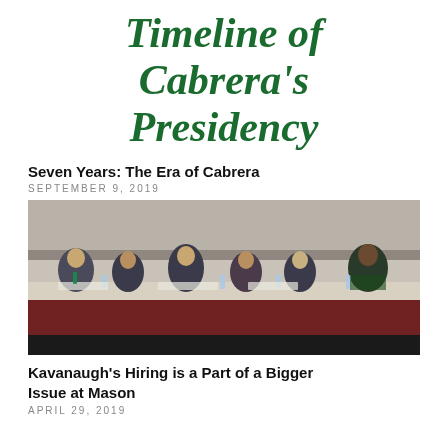Timeline of Cabrera's Presidency
Seven Years: The Era of Cabrera
SEPTEMBER 9, 2019
[Figure (photo): Several people seated at a long table with a dark tablecloth and red skirting, appearing to be at a formal panel or board meeting in a large room.]
Kavanaugh's Hiring is a Part of a Bigger Issue at Mason
APRIL 29, 2019